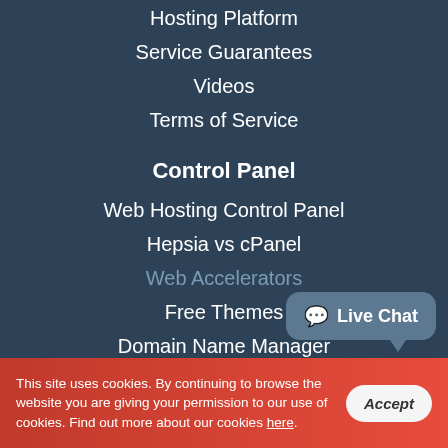Hosting Platform
Service Guarantees
Videos
Terms of Service
Control Panel
Web Hosting Control Panel
Hepsia vs cPanel
Web Accelerators
Free Themes
Domain Name Manager
File Manager
Hepsia Email Manager
Stats Manager
Databases Manager
Free Site Building Instrument
This site uses cookies. By continuing to browse the website you are giving your permission to our use of cookies. Find out more about our cookies here.